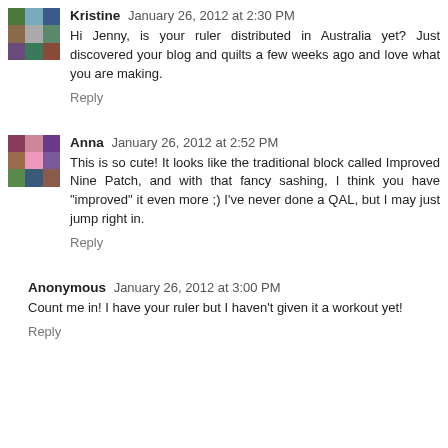[Figure (photo): Avatar thumbnail for Kristine, showing a colorful quilt pattern]
Kristine January 26, 2012 at 2:30 PM
Hi Jenny, is your ruler distributed in Australia yet? Just discovered your blog and quilts a few weeks ago and love what you are making.
Reply
[Figure (photo): Avatar thumbnail for Anna, showing a person with quilts]
Anna January 26, 2012 at 2:52 PM
This is so cute! It looks like the traditional block called Improved Nine Patch, and with that fancy sashing, I think you have "improved" it even more ;) I've never done a QAL, but I may just jump right in.
Reply
Anonymous January 26, 2012 at 3:00 PM
Count me in! I have your ruler but I haven't given it a workout yet!
Reply